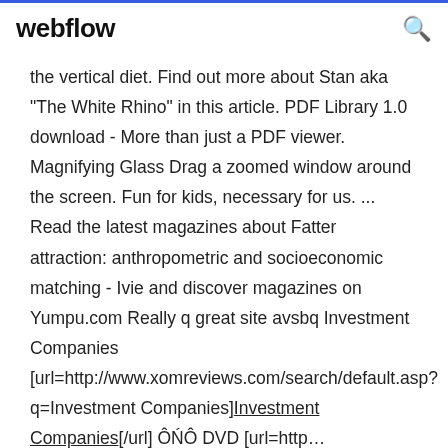webflow
the vertical diet. Find out more about Stan aka "The White Rhino" in this article. PDF Library 1.0 download - More than just a PDF viewer. Magnifying Glass Drag a zoomed window around the screen. Fun for kids, necessary for us. ... Read the latest magazines about Fatter attraction: anthropometric and socioeconomic matching - Ivie and discover magazines on Yumpu.com Really q great site avsbq Investment Companies [url=http://www.xomreviews.com/search/default.asp?q=Investment Companies]Investment Companies[/url] ÔŃÔ DVD [url=http... Established males transfer on average every 3.5 years, although young males may transfer